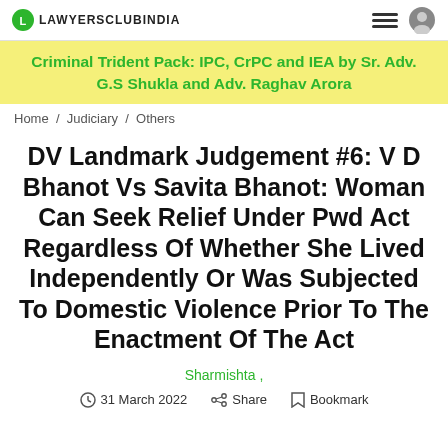LAWYERSCLUBINDIA
Criminal Trident Pack: IPC, CrPC and IEA by Sr. Adv. G.S Shukla and Adv. Raghav Arora
Home / Judiciary / Others
DV Landmark Judgement #6: V D Bhanot Vs Savita Bhanot: Woman Can Seek Relief Under Pwd Act Regardless Of Whether She Lived Independently Or Was Subjected To Domestic Violence Prior To The Enactment Of The Act
Sharmishta ,
31 March 2022   Share   Bookmark